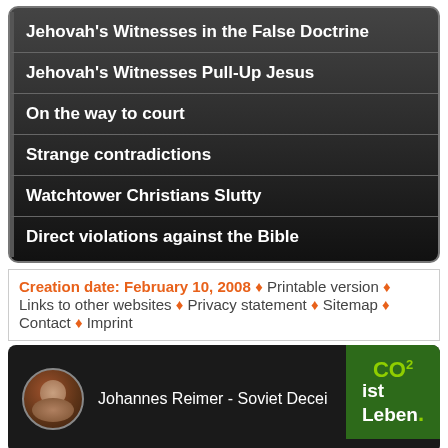Jehovah's Witnesses in the False Doctrine
Jehovah's Witnesses Pull-Up Jesus
On the way to court
Strange contradictions
Watchtower Christians Slutty
Direct violations against the Bible
Creation date: February 10, 2008 ♦ Printable version ♦ Links to other websites ♦ Privacy statement ♦ Sitemap ♦ Contact ♦ Imprint
[Figure (screenshot): Video thumbnail showing Johannes Reimer - Soviet Decei... with circular avatar photo and CO2 ist Leben badge overlay]